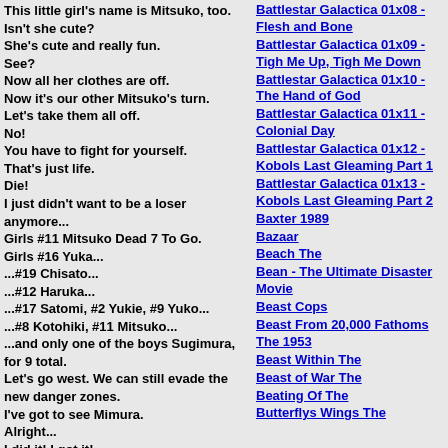This little girl's name is Mitsuko, too.
Isn't she cute?
She's cute and really fun.
See?
Now all her clothes are off.
Now it's our other Mitsuko's turn.
Let's take them all off.
No!
You have to fight for yourself.
That's just life.
Die!
I just didn't want to be a loser anymore...
Girls #11 Mitsuko Dead 7 To Go.
Girls #16 Yuka...
...#19 Chisato...
...#12 Haruka...
...#17 Satomi, #2 Yukie, #9 Yuko...
...#8 Kotohiki, #11 Mitsuko...
...and only one of the boys Sugimura, for 9 total.
Let's go west. We can still evade the new danger zones.
I've got to see Mimura.
Alright...
I did it! I got it!
We're done too! - Excellent!
2 bombs, 100 Molotovs. - And 3 propane tanks.
It took awhile, but my Third Man hacker's software's ready to go!
Battlestar Galactica 01x08 - Flesh and Bone
Battlestar Galactica 01x09 - Tigh Me Up, Tigh Me Down
Battlestar Galactica 01x10 - The Hand of God
Battlestar Galactica 01x11 - Colonial Day
Battlestar Galactica 01x12 - Kobols Last Gleaming Part 1
Battlestar Galactica 01x13 - Kobols Last Gleaming Part 2
Baxter 1989
Bazaar
Beach The
Bean - The Ultimate Disaster Movie
Beast Cops
Beast From 20,000 Fathoms The 1953
Beast Within The
Beast of War The
Beating Of The
Butterflys Wings The 2000